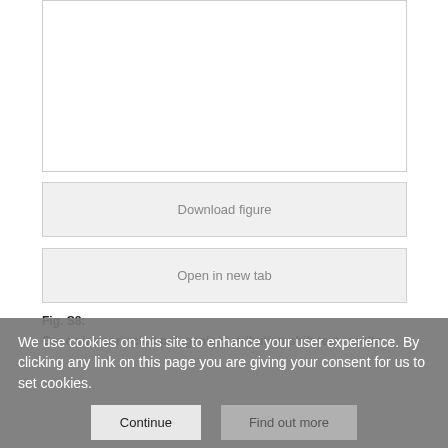[Figure (other): Empty white figure placeholder box with border]
Download figure
Open in new tab
Fig. S8:
Gene size-corrected polygenic distribution shift test results.
We use cookies on this site to enhance your user experience. By clicking any link on this page you are giving your consent for us to set cookies.